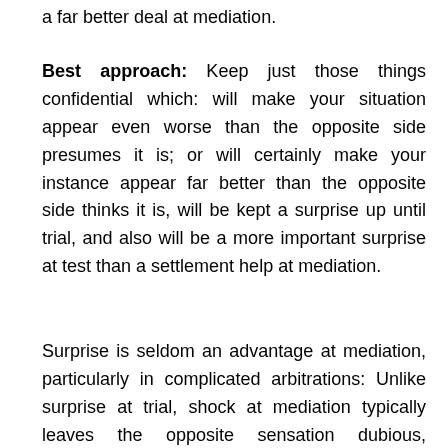a far better deal at mediation.
Best approach: Keep just those things confidential which: will make your situation appear even worse than the opposite side presumes it is; or will certainly make your instance appear far better than the opposite side thinks it is, will be kept a surprise up until trial, and also will be a more important surprise at test than a settlement help at mediation.
Surprise is seldom an advantage at mediation, particularly in complicated arbitrations: Unlike surprise at trial, shock at mediation typically leaves the opposite sensation dubious, betrayed,